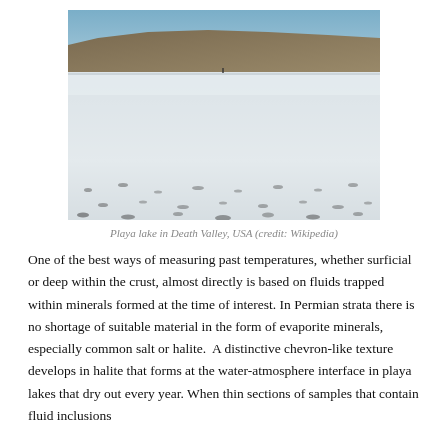[Figure (photo): A photo of a playa lake in Death Valley, USA, showing a vast white salt flat with scattered dark rocks under a blue sky with mountains in the background.]
Playa lake in Death Valley, USA (credit: Wikipedia)
One of the best ways of measuring past temperatures, whether surficial or deep within the crust, almost directly is based on fluids trapped within minerals formed at the time of interest. In Permian strata there is no shortage of suitable material in the form of evaporite minerals, especially common salt or halite. A distinctive chevron-like texture develops in halite that forms at the water-atmosphere interface in playa lakes that dry out every year. When thin sections of samples that contain fluid inclusions